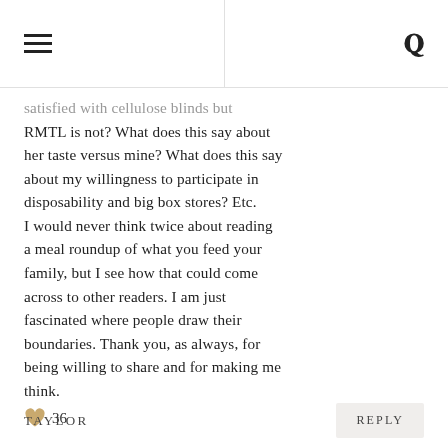≡  🔍
satisfied with cellulose blinds but RMTL is not? What does this say about her taste versus mine? What does this say about my willingness to participate in disposability and big box stores? Etc. I would never think twice about reading a meal roundup of what you feed your family, but I see how that could come across to other readers. I am just fascinated where people draw their boundaries. Thank you, as always, for being willing to share and for making me think. ♥ 36
TAYLOR
REPLY